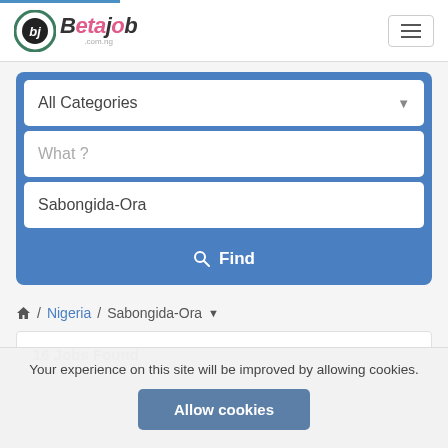[Figure (logo): Betajob.com.ng logo with circular icon and stylized text]
All Categories
What ?
Sabongida-Ora
Find
Nigeria / Sabongida-Ora
16 Jobs Found
Your experience on this site will be improved by allowing cookies.
Allow cookies